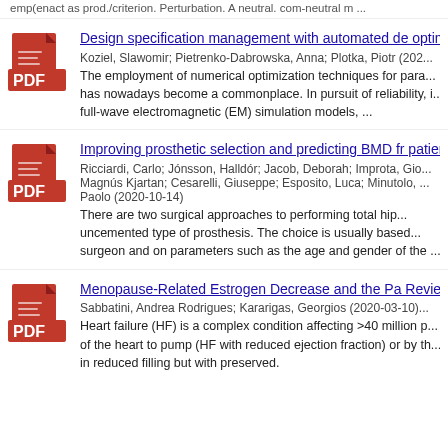emp(enact as prod./criterion. Perturbation. A neutral. com-neutral m ...
[Figure (illustration): Red PDF file icon]
Design specification management with automated de optimization of miniaturized microwave components
Koziel, Slawomir; Pietrenko-Dabrowska, Anna; Plotka, Piotr (202...
The employment of numerical optimization techniques for para... has nowadays become a commonplace. In pursuit of reliability, i... full-wave electromagnetic (EM) simulation models, ...
[Figure (illustration): Red PDF file icon]
Improving prosthetic selection and predicting BMD fr patients receiving total hip arthroplasty
Ricciardi, Carlo; Jónsson, Halldór; Jacob, Deborah; Improta, Gio... Magnús Kjartan; Cesarelli, Giuseppe; Esposito, Luca; Minutolo, ... Paolo (2020-10-14)
There are two surgical approaches to performing total hip... uncemented type of prosthesis. The choice is usually based... surgeon and on parameters such as the age and gender of the ...
[Figure (illustration): Red PDF file icon]
Menopause-Related Estrogen Decrease and the Pa Review Topic of the Week
Sabbatini, Andrea Rodrigues; Kararigas, Georgios (2020-03-10)...
Heart failure (HF) is a complex condition affecting >40 million p... of the heart to pump (HF with reduced ejection fraction) or by th... in reduced filling but with preserved.